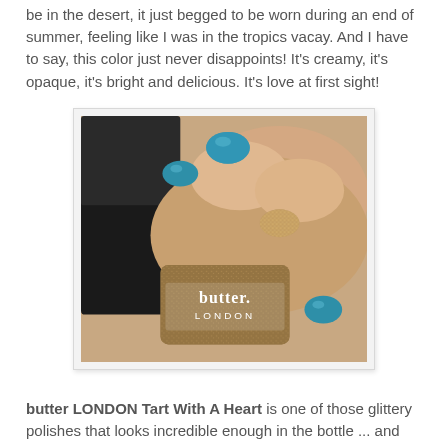be in the desert, it just begged to be worn during an end of summer, feeling like I was in the tropics vacay. And I have to say, this color just never disappoints! It's creamy, it's opaque, it's bright and delicious. It's love at first sight!
[Figure (photo): A close-up photo of a hand holding a butter LONDON nail polish bottle. The nails are painted teal/blue and one nail has a glittery bronze/gold polish. The bottle label reads 'butter LONDON'.]
butter LONDON Tart With A Heart is one of those glittery polishes that looks incredible enough in the bottle ... and